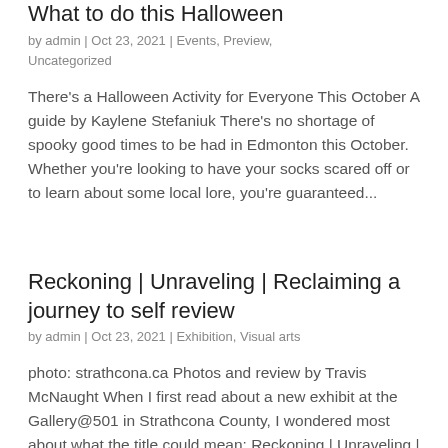What to do this Halloween
by admin | Oct 23, 2021 | Events, Preview, Uncategorized
There's a Halloween Activity for Everyone This October A guide by Kaylene Stefaniuk There's no shortage of spooky good times to be had in Edmonton this October. Whether you're looking to have your socks scared off or to learn about some local lore, you're guaranteed...
Reckoning | Unraveling | Reclaiming a journey to self review
by admin | Oct 23, 2021 | Exhibition, Visual arts
photo: strathcona.ca Photos and review by Travis McNaught When I first read about a new exhibit at the Gallery@501 in Strathcona County, I wondered most about what the title could mean: Reckoning | Unraveling | Reclaiming a journey to self. Was it a